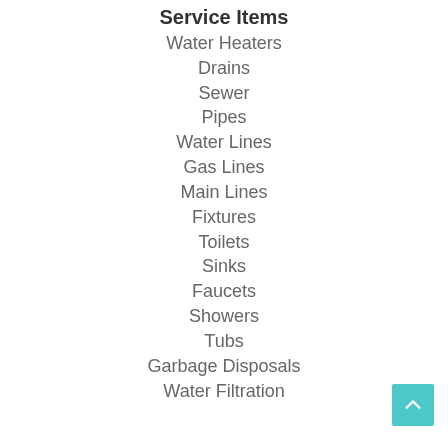Service Items
Water Heaters
Drains
Sewer
Pipes
Water Lines
Gas Lines
Main Lines
Fixtures
Toilets
Sinks
Faucets
Showers
Tubs
Garbage Disposals
Water Filtration